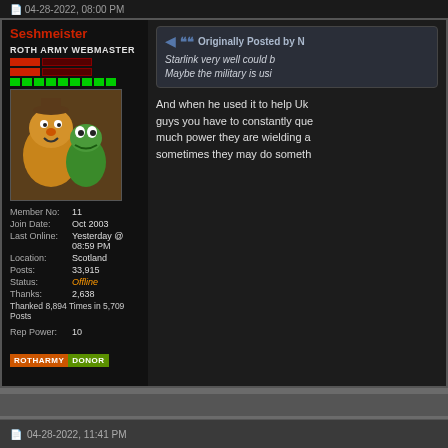04-28-2022, 08:00 PM
Seshmeister
ROTH ARMY WEBMASTER
[Figure (photo): Avatar image showing Muppet characters Fozzie Bear and Kermit the Frog]
| Member No: | 11 |
| Join Date: | Oct 2003 |
| Last Online: | Yesterday @ 08:59 PM |
| Location: | Scotland |
| Posts: | 33,915 |
| Status: | Offline |
| Thanks: | 2,638 |
Thanked 8,894 Times in 5,709 Posts
Rep Power:    10
ROTHARMY DONOR
Originally Posted by N
Starlink very well could b... Maybe the military is usi...
And when he used it to help Uk... guys you have to constantly que... much power they are wielding a... sometimes they may do someth...
04-28-2022, 11:41 PM